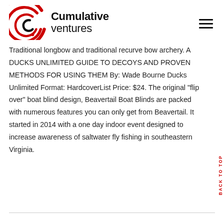Cumulative ventures
Traditional longbow and traditional recurve bow archery. A DUCKS UNLIMITED GUIDE TO DECOYS AND PROVEN METHODS FOR USING THEM By: Wade Bourne Ducks Unlimited Format: HardcoverList Price: $24. The original "flip over" boat blind design, Beavertail Boat Blinds are packed with numerous features you can only get from Beavertail. It started in 2014 with a one day indoor event designed to increase awareness of saltwater fly fishing in southeastern Virginia.